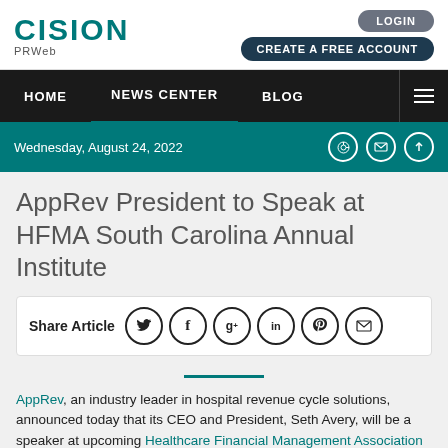[Figure (logo): Cision PRWeb logo in teal]
LOGIN   CREATE A FREE ACCOUNT
HOME   NEWS CENTER   BLOG
Wednesday, August 24, 2022
AppRev President to Speak at HFMA South Carolina Annual Institute
Share Article
AppRev, an industry leader in hospital revenue cycle solutions, announced today that its CEO and President, Seth Avery, will be a speaker at upcoming Healthcare Financial Management Association (HFMA) South Carolina Annual Institute.